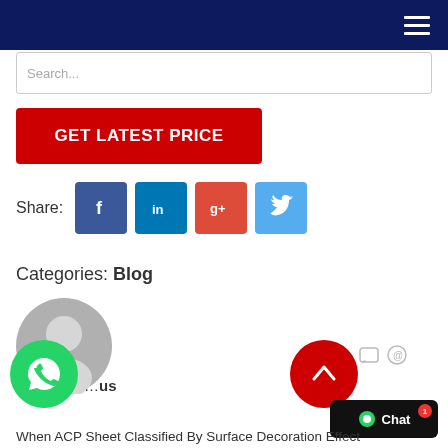Navigation bar with hamburger menu
[Figure (screenshot): Search bar input field at top of page]
[Figure (screenshot): Red GET LATEST PRICE button]
Share:
[Figure (infographic): Social share icons: Facebook, LinkedIn, Google+, Twitter]
Categories: Blog
[Figure (photo): Default grey avatar/user profile icon]
Write a reply
...us
When ACP Sheet Classified By Surface Decoration Effect
[Figure (logo): WhatsApp green circle button]
[Figure (screenshot): Chat button with notification badge showing 1]